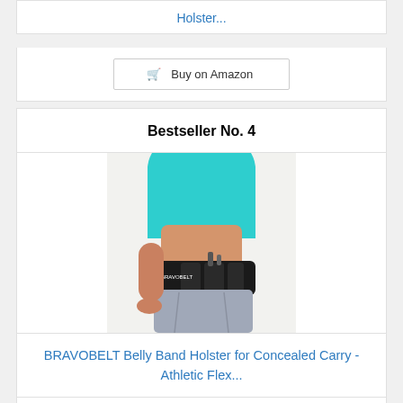Holster...
🛒 Buy on Amazon
Bestseller No. 4
[Figure (photo): Woman wearing a BRAVOBELT belly band holster around her waist, dressed in a teal top and denim shorts.]
BRAVOBELT Belly Band Holster for Concealed Carry - Athletic Flex...
🛒 Buy on Amazon